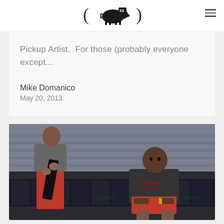(pig logo with 23) - navigation header
Pickup Artist.  For those (probably everyone except...
Mike Domanico
May 20, 2013
[Figure (photo): A Chicago Bulls basketball player (Derrick Rose) sitting on the bench in warm-up gear, wearing red shorts and a dark Chicago Basketball shirt. Arena seats visible in background.]